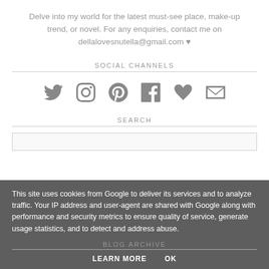Delve into my world for the latest must-see place, make-up trend, or novel. For any enquiries, contact me on dellalovesnutella@gmail.com ♥
SOCIAL CHANNELS
[Figure (infographic): Row of six social media icons in grey: Twitter bird, Instagram camera, Pinterest P-circle, Facebook f, heart, envelope/mail]
SEARCH
This site uses cookies from Google to deliver its services and to analyze traffic. Your IP address and user-agent are shared with Google along with performance and security metrics to ensure quality of service, generate usage statistics, and to detect and address abuse.
LEARN MORE   OK